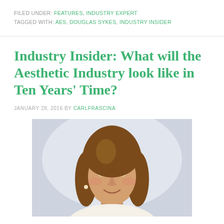FILED UNDER: FEATURES, INDUSTRY EXPERT
TAGGED WITH: AES, DOUGLAS SYKES, INDUSTRY INSIDER
Industry Insider: What will the Aesthetic Industry look like in Ten Years' Time?
JANUARY 28, 2016 BY CARLFRASCINA
[Figure (photo): Portrait photo of a young woman with long brown hair, smiling, against a light background]